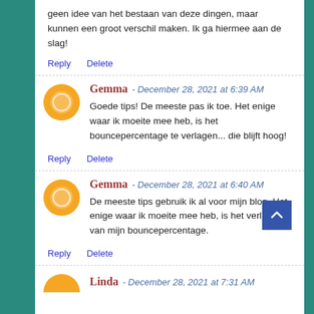geen idee van het bestaan van deze dingen, maar kunnen een groot verschil maken. Ik ga hiermee aan de slag!
Reply   Delete
Gemma - December 28, 2021 at 6:39 AM
Goede tips! De meeste pas ik toe. Het enige waar ik moeite mee heb, is het bouncepercentage te verlagen... die blijft hoog!
Reply   Delete
Gemma - December 28, 2021 at 6:40 AM
De meeste tips gebruik ik al voor mijn blog. Het enige waar ik moeite mee heb, is het verlagen van mijn bouncepercentage.
Reply   Delete
Linda - December 28, 2021 at 7:31 AM